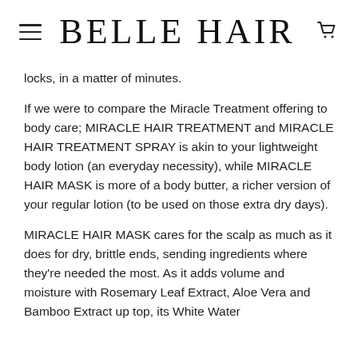BELLE HAIR
locks, in a matter of minutes.
If we were to compare the Miracle Treatment offering to body care; MIRACLE HAIR TREATMENT and MIRACLE HAIR TREATMENT SPRAY is akin to your lightweight body lotion (an everyday necessity), while MIRACLE HAIR MASK is more of a body butter, a richer version of your regular lotion (to be used on those extra dry days).
MIRACLE HAIR MASK cares for the scalp as much as it does for dry, brittle ends, sending ingredients where they're needed the most. As it adds volume and moisture with Rosemary Leaf Extract, Aloe Vera and Bamboo Extract up top, its White Water